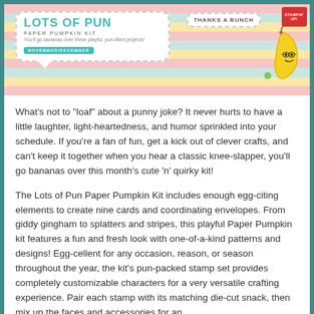[Figure (illustration): Lots of Pun Paper Pumpkin Kit promotional banner with colorful stripes, a speech bubble showing the kit title, 'Thanks a Bunch' label, a cute banana character, and Stampin' Up logo.]
What’s not to “loaf” about a punny joke? It never hurts to have a little laughter, light-heartedness, and humor sprinkled into your schedule. If you’re a fan of fun, get a kick out of clever crafts, and can’t keep it together when you hear a classic knee-slapper, you’ll go bananas over this month’s cute ‘n’ quirky kit!
The Lots of Pun Paper Pumpkin Kit includes enough egg-citing elements to create nine cards and coordinating envelopes. From giddy gingham to splatters and stripes, this playful Paper Pumpkin kit features a fun and fresh look with one-of-a-kind patterns and designs! Egg-cellent for any occasion, reason, or season throughout the year, the kit’s pun-packed stamp set provides completely customizable characters for a very versatile crafting experience. Pair each stamp with its matching die-cut snack, then mix up the faces and accessories for an